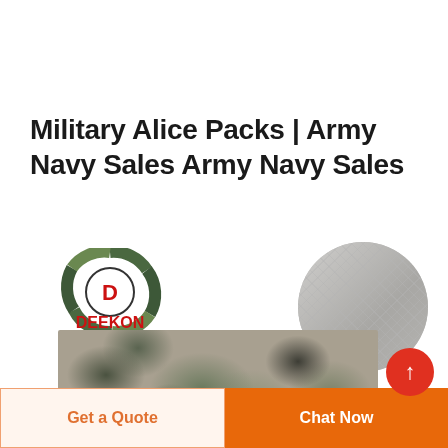Military Alice Packs | Army Navy Sales Army Navy Sales
[Figure (logo): DEEKON logo: circular camouflage-patterned ring with D letter in center, red DEEKON text below]
[Figure (photo): Close-up circular photo of gray woven fabric texture with diagonal weave lines]
[Figure (photo): Rectangular photo of camouflage patterned fabric in green/brown/gray tones]
Get a Quote
Chat Now